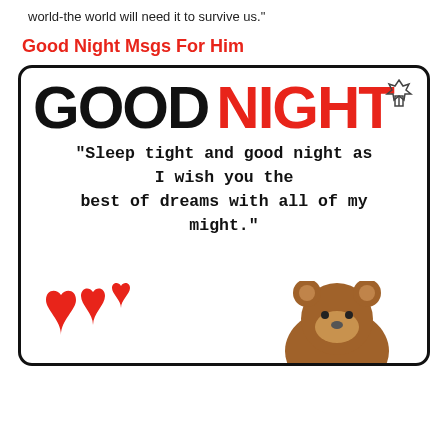world-the world will need it to survive us."
Good Night Msgs For Him
[Figure (illustration): Good Night greeting card with bold 'GOOD NIGHT' title (GOOD in black, NIGHT in red), a quote 'Sleep tight and good night as I wish you the best of dreams with all of my might.', red hearts and a cartoon bear at the bottom.]